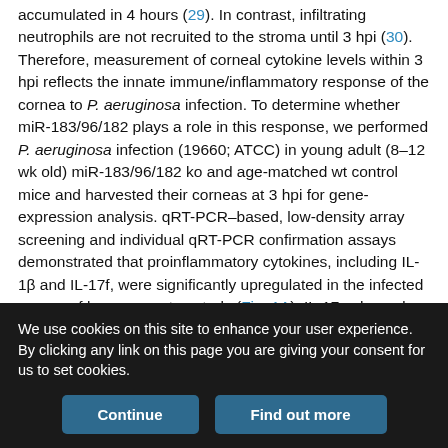accumulated in 4 hours (29). In contrast, infiltrating neutrophils are not recruited to the stroma until 3 hpi (30). Therefore, measurement of corneal cytokine levels within 3 hpi reflects the innate immune/inflammatory response of the cornea to P. aeruginosa infection. To determine whether miR-183/96/182 plays a role in this response, we performed P. aeruginosa infection (19660; ATCC) in young adult (8–12 wk old) miR-183/96/182 ko and age-matched wt control mice and harvested their corneas at 3 hpi for gene-expression analysis. qRT-PCR–based, low-density array screening and individual qRT-PCR confirmation assays demonstrated that proinflammatory cytokines, including IL-1β and IL-17f, were significantly upregulated in the infected cornea of ko versus wt controls (Fig. 1A). IL-17a showed a similar trend. Consistently, Runx1, a
We use cookies on this site to enhance your user experience. By clicking any link on this page you are giving your consent for us to set cookies.